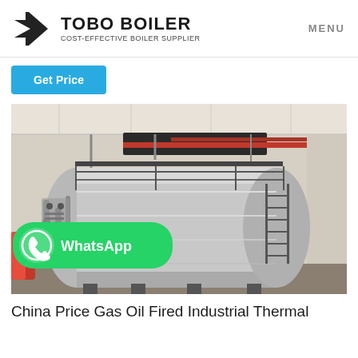TOBO BOILER — COST-EFFECTIVE BOILER SUPPLIER | MENU
Get Price
[Figure (photo): Large industrial gas/oil fired thermal oil boiler inside a factory building, showing a large horizontal cylindrical silver insulated tank with scaffolding, ladders, piping, and red pipes overhead. A WhatsApp contact button overlays the lower left.]
China Price Gas Oil Fired Industrial Thermal